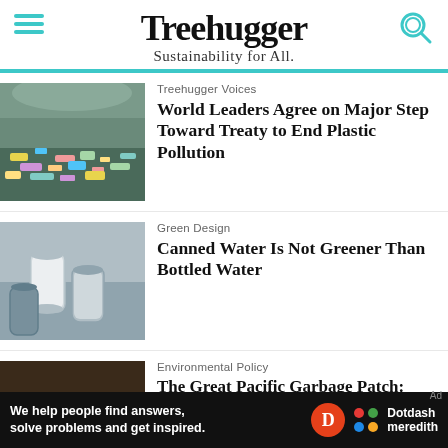Treehugger — Sustainability for All.
Treehugger Voices
World Leaders Agree on Major Step Toward Treaty to End Plastic Pollution
[Figure (photo): Pile of plastic waste and pollution on a shoreline]
Green Design
Canned Water Is Not Greener Than Bottled Water
[Figure (photo): Aluminum cans in water]
Environmental Policy
The Great Pacific Garbage Patch: Overview, Impacts, and Solutions
[Figure (photo): Garbage and debris on ground]
We help people find answers, solve problems and get inspired. Dotdash meredith